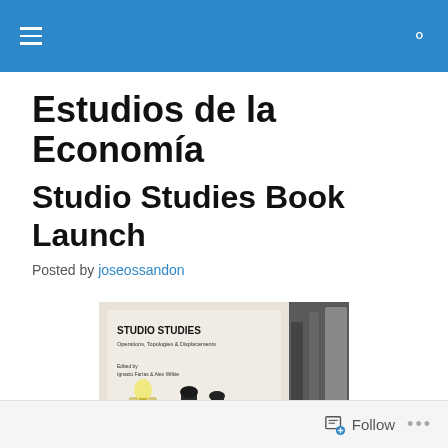Estudios de la Economía
Studio Studies Book Launch
Posted by joseossandon
[Figure (photo): Book cover of Studio Studies: Operations, Topologies & Displacements, edited by Ignacio Farías & Alex Wilkie, displayed with small figurine objects on a table]
Follow ...